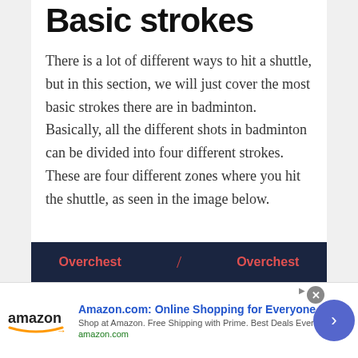Basic strokes
There is a lot of different ways to hit a shuttle, but in this section, we will just cover the most basic strokes there are in badminton. Basically, all the different shots in badminton can be divided into four different strokes. These are four different zones where you hit the shuttle, as seen in the image below.
[Figure (photo): Partial view of a badminton diagram showing 'Overchest' zones labeled on a dark blue background with a red slash divider]
[Figure (infographic): Amazon advertisement banner: 'Amazon.com: Online Shopping for Everyone', with Amazon logo, tagline 'Shop at Amazon. Free Shipping with Prime. Best Deals Ever!', amazon.com URL, close button, and navigation arrow button]